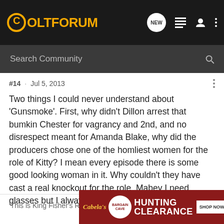[Figure (logo): ColtForum logo with navigation icons on dark header bar]
[Figure (screenshot): Search Community input bar on dark background]
#14  ·  Jul 5, 2013
Two things I could never understand about 'Gunsmoke'. First, why didn't Dillon arrest that bumkin Chester for vagrancy and 2nd, and no disrespect meant for Amanda Blake, why did the producers chose one of the homliest women for the role of Kitty? I mean every episode there is some good looking woman in it. Why couldn't they have cast a real knockout for the role. Mabey I need glasses but I always thought Kitty was a 2 bagger.
'This is King Fisher's Road--Take the other one'
[Figure (other): Cabela's Bargain Cave Hunting Clearance - Shop Now advertisement banner]